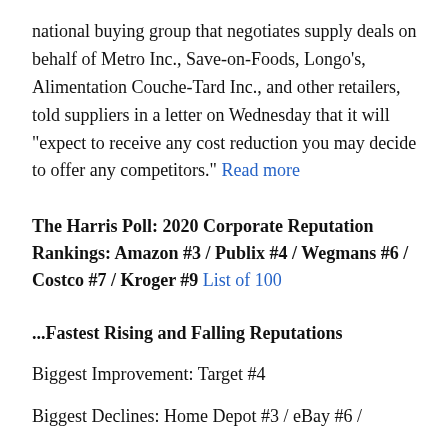national buying group that negotiates supply deals on behalf of Metro Inc., Save-on-Foods, Longo's, Alimentation Couche-Tard Inc., and other retailers, told suppliers in a letter on Wednesday that it will "expect to receive any cost reduction you may decide to offer any competitors." Read more
The Harris Poll: 2020 Corporate Reputation Rankings: Amazon #3 / Publix #4 / Wegmans #6 / Costco #7 / Kroger #9 List of 100
...Fastest Rising and Falling Reputations
Biggest Improvement: Target #4
Biggest Declines: Home Depot #3 / eBay #6 /